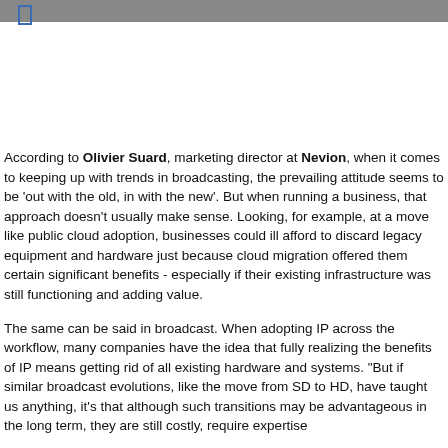According to Olivier Suard, marketing director at Nevion, when it comes to keeping up with trends in broadcasting, the prevailing attitude seems to be ‘out with the old, in with the new’. But when running a business, that approach doesn’t usually make sense. Looking, for example, at a move like public cloud adoption, businesses could ill afford to discard legacy equipment and hardware just because cloud migration offered them certain significant benefits - especially if their existing infrastructure was still functioning and adding value.
The same can be said in broadcast. When adopting IP across the workflow, many companies have the idea that fully realizing the benefits of IP means getting rid of all existing hardware and systems. “But if similar broadcast evolutions, like the move from SD to HD, have taught us anything, it’s that although such transitions may be advantageous in the long term, they are still costly, require expertise